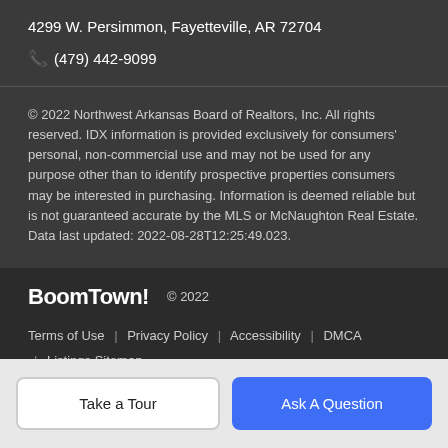4299 W. Persimmon, Fayetteville, AR 72704
📞 (479) 442-9099
© 2022 Northwest Arkansas Board of Realtors, Inc. All rights reserved. IDX information is provided exclusively for consumers' personal, non-commercial use and may not be used for any purpose other than to identify prospective properties consumers may be interested in purchasing. Information is deemed reliable but is not guaranteed accurate by the MLS or McNaughton Real Estate. Data last updated: 2022-08-28T12:25:49.023.
BoomTown! © 2022 | Terms of Use | Privacy Policy | Accessibility | DMCA | Listings Sitemap